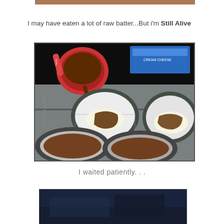[Figure (photo): Top portion of a cropped photo, partially visible at the top of the page]
I may have eaten a lot of raw batter...But i'm Still Alive
[Figure (photo): Photo of chocolate cupcake batter being poured from a red measuring cup into muffin tin cups lined with paper liners, some cups show cream cheese filling, a blue box visible in background]
I waited patiently. . .
[Figure (photo): Bottom portion of another photo, mostly dark blue/black, partially cut off at bottom of page]